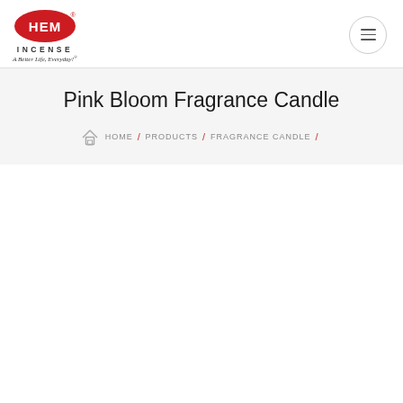[Figure (logo): HEM Incense logo — red oval with white HEM text and registered trademark symbol, with INCENSE text below and tagline 'A Better Life, Everyday!' in italic]
Pink Bloom Fragrance Candle
HOME / PRODUCTS / FRAGRANCE CANDLE /